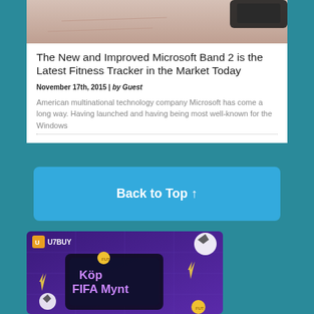[Figure (photo): Close-up photo of a wrist/skin with a fitness tracker device, cropped at top]
The New and Improved Microsoft Band 2 is the Latest Fitness Tracker in the Market Today
November 17th, 2015 | by Guest
American multinational technology company Microsoft has come a long way. Having launched and having being most well-known for the Windows
[Figure (screenshot): Blue 'Back to Top' button with upward arrow]
[Figure (photo): U7BUY advertisement banner showing 'Köp FIFA Mynt' with purple background, soccer balls, and gold coins]